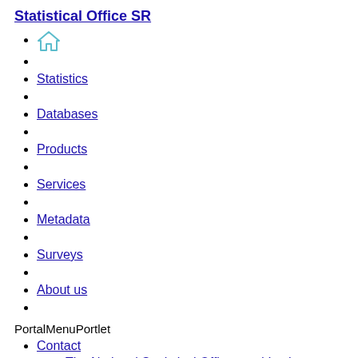Statistical Office SR
[home icon]
Statistics
Databases
Products
Services
Metadata
Surveys
About us
PortalMenuPortlet
Contact
The National Statistical Offices and Institutes
The World Organisations